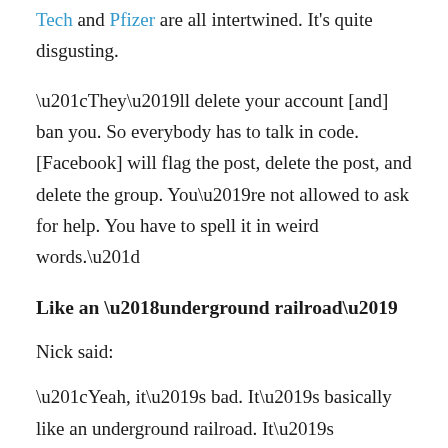Tech and Pfizer are all intertwined. It's quite disgusting.
“They’ll delete your account [and] ban you. So everybody has to talk in code. [Facebook] will flag the post, delete the post, and delete the group. You’re not allowed to ask for help. You have to spell it in weird words.”
Like an ‘underground railroad’
Nick said:
“Yeah, it’s bad. It’s basically like an underground railroad. It’s absurd.”
Nick said he experienced similar censorship on Reddit, where “a sea of people with the same problem” came looking for help and guidance.